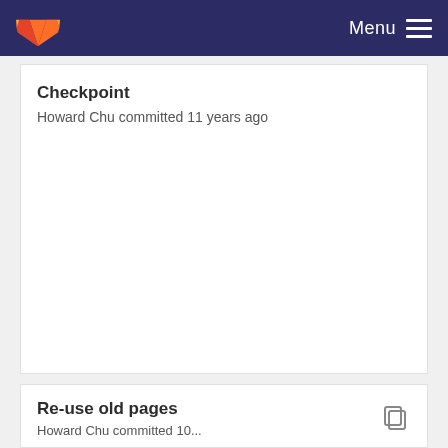Menu
Checkpoint
Howard Chu committed 11 years ago
Re-use old pages
Howard Chu committed 10...